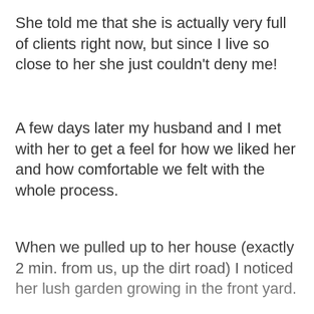She told me that she is actually very full of clients right now, but since I live so close to her she just couldn't deny me!
A few days later my husband and I met with her to get a feel for how we liked her and how comfortable we felt with the whole process.
When we pulled up to her house (exactly 2 min. from us, up the dirt road) I noticed her lush garden growing in the front yard.
She came to the door barefooted, in a long multi-patterned skirt. She looks like she's in her late 40's/early 50's. Very